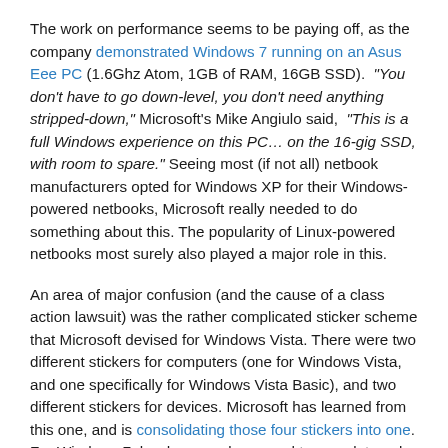The work on performance seems to be paying off, as the company demonstrated Windows 7 running on an Asus Eee PC (1.6Ghz Atom, 1GB of RAM, 16GB SSD). "You don't have to go down-level, you don't need anything stripped-down," Microsoft's Mike Angiulo said, "This is a full Windows experience on this PC… on the 16-gig SSD, with room to spare." Seeing most (if not all) netbook manufacturers opted for Windows XP for their Windows-powered netbooks, Microsoft really needed to do something about this. The popularity of Linux-powered netbooks most surely also played a major role in this.
An area of major confusion (and the cause of a class action lawsuit) was the rather complicated sticker scheme that Microsoft devised for Windows Vista. There were two different stickers for computers (one for Windows Vista, and one specifically for Windows Vista Basic), and two different stickers for devices. Microsoft has learned from this one, and is consolidating those four stickers into one. For Windows 7, hardware makers need to complete only a single certification program. Microsoft is also pushing hardware makers to start testing their